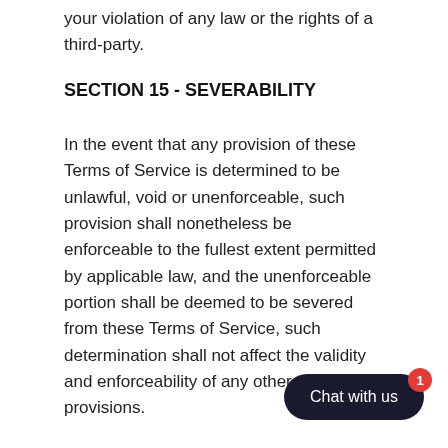your violation of any law or the rights of a third-party.
SECTION 15 - SEVERABILITY
In the event that any provision of these Terms of Service is determined to be unlawful, void or unenforceable, such provision shall nonetheless be enforceable to the fullest extent permitted by applicable law, and the unenforceable portion shall be deemed to be severed from these Terms of Service, such determination shall not affect the validity and enforceability of any other remaining provisions.
SECTION 16 - TERMINATION
[Figure (other): Chat with us widget button with badge showing 1 notification]